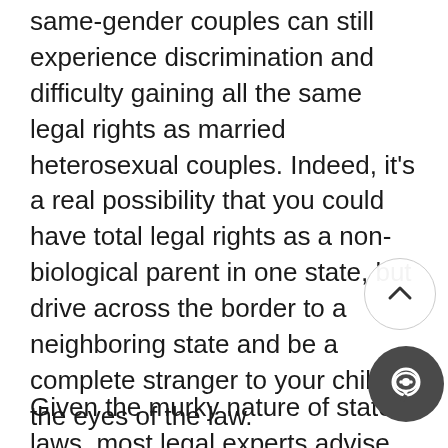same-gender couples can still experience discrimination and difficulty gaining all the same legal rights as married heterosexual couples. Indeed, it's a real possibility that you could have total legal rights as a non-biological parent in one state, but drive across the border to a neighboring state and be a complete stranger to your child in the eyes of the law.
Given the murky nature of state laws, most legal experts advise same-gender couples that the best way to ensure they have full rights as a non-biological parent in every state is to obtain a second-parent adoption. The Supreme Court has ruled that the adoptive parental rights granted in one state